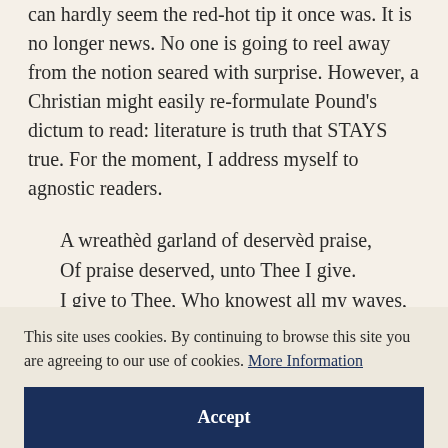can hardly seem the red-hot tip it once was. It is no longer news. No one is going to reel away from the notion seared with surprise. However, a Christian might easily re-formulate Pound's dictum to read: literature is truth that STAYS true. For the moment, I address myself to agnostic readers.
A wreathèd garland of deservèd praise,
Of praise deserved, unto Thee I give.
I give to Thee, Who knowest all my wayes,
My crooked winding wayes, wherein I live –
This site uses cookies. By continuing to browse this site you are agreeing to our use of cookies. More Information
Accept